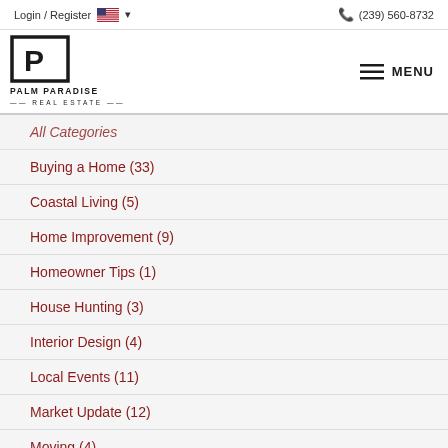Login / Register   (239) 560-8732
[Figure (logo): Palm Paradise Real Estate logo — square bracket P icon above text PALM PARADISE REAL ESTATE]
All Categories
Buying a Home  (33)
Coastal Living  (5)
Home Improvement  (9)
Homeowner Tips  (1)
House Hunting  (3)
Interior Design  (4)
Local Events  (11)
Market Update  (12)
Moving  (4)
Moving Guides  (31)
Selling Your Home  (3)